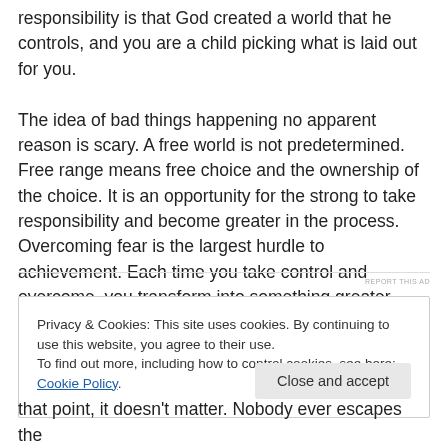responsibility is that God created a world that he controls, and you are a child picking what is laid out for you.

The idea of bad things happening no apparent reason is scary. A free world is not predetermined. Free range means free choice and the ownership of the choice. It is an opportunity for the strong to take responsibility and become greater in the process. Overcoming fear is the largest hurdle to achievement. Each time you take control and overcome, you transform into something greater, whether you win or lose.
Privacy & Cookies: This site uses cookies. By continuing to use this website, you agree to their use.
To find out more, including how to control cookies, see here: Cookie Policy
that point, it doesn't matter. Nobody ever escapes the